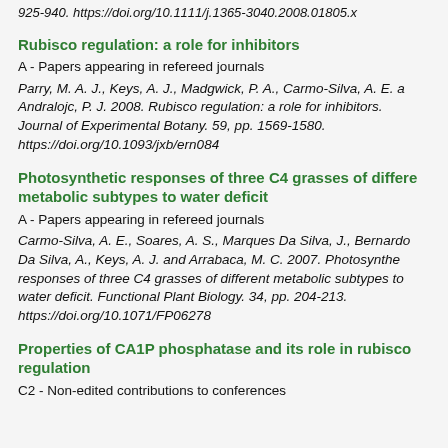925-940. https://doi.org/10.1111/j.1365-3040.2008.01805.x
Rubisco regulation: a role for inhibitors
A - Papers appearing in refereed journals
Parry, M. A. J., Keys, A. J., Madgwick, P. A., Carmo-Silva, A. E. a Andralojc, P. J. 2008. Rubisco regulation: a role for inhibitors. Journal of Experimental Botany. 59, pp. 1569-1580. https://doi.org/10.1093/jxb/ern084
Photosynthetic responses of three C4 grasses of different metabolic subtypes to water deficit
A - Papers appearing in refereed journals
Carmo-Silva, A. E., Soares, A. S., Marques Da Silva, J., Bernardo Da Silva, A., Keys, A. J. and Arrabaca, M. C. 2007. Photosynthetic responses of three C4 grasses of different metabolic subtypes to water deficit. Functional Plant Biology. 34, pp. 204-213. https://doi.org/10.1071/FP06278
Properties of CA1P phosphatase and its role in rubisco regulation
C2 - Non-edited contributions to conferences